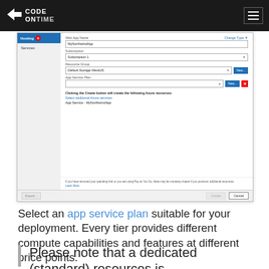Code OnTime
[Figure (screenshot): Azure App Service configuration dialog showing Hosting tab with fields for Web App Name (MyNorthwindApp), Subscription (Subscription 1), Resource Group (Default Storage WestUS), App Service Plan, with New and Cancel buttons. Shows 'Clicking the Create button will create the following Azure resources', 'Select additional Azure services' link, 'App Service - MyNorthwindApp'. Bottom note about spending limit and Pay as You Go. Footer with Export, Create, Cancel buttons.]
Select an app service plan suitable for your deployment. Every tier provides different compute capabilities and features at different price points.
Please note that a dedicated (standard) resources is